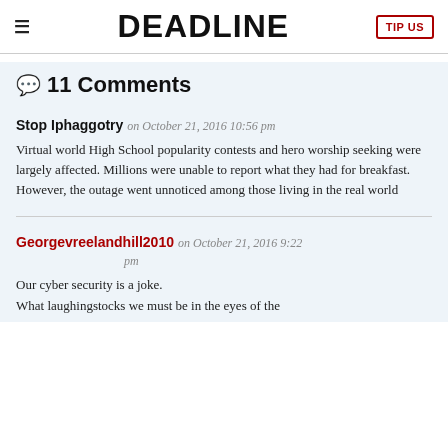≡  DEADLINE  TIP US
💬 11 Comments
Stop Iphaggotry on October 21, 2016 10:56 pm
Virtual world High School popularity contests and hero worship seeking were largely affected. Millions were unable to report what they had for breakfast. However, the outage went unnoticed among those living in the real world
Georgevreelandhill2010 on October 21, 2016 9:22 pm
Our cyber security is a joke.
What laughingstocks we must be in the eyes of the